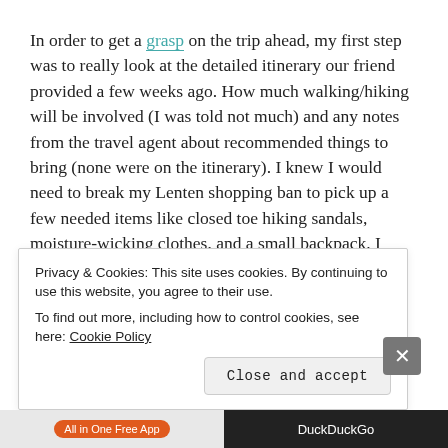In order to get a grasp on the trip ahead, my first step was to really look at the detailed itinerary our friend provided a few weeks ago. How much walking/hiking will be involved (I was told not much) and any notes from the travel agent about recommended things to bring (none were on the itinerary). I knew I would need to break my Lenten shopping ban to pick up a few needed items like closed toe hiking sandals, moisture-wicking clothes, and a small backpack. I decided a selfie stick would be a good investment so we could get pictures with all of us.  I also want to be sure to get a good first aid kit together for the kids because I know mine will
Privacy & Cookies: This site uses cookies. By continuing to use this website, you agree to their use.
To find out more, including how to control cookies, see here: Cookie Policy
Close and accept